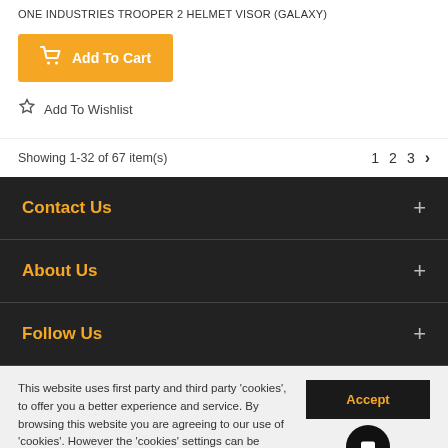ONE INDUSTRIES TROOPER 2 HELMET VISOR (GALAXY)
Add To Cart
Add To Wishlist
Showing 1-32 of 67 item(s)  1  2  3  >
Contact Us
About Us
Follow Us
This website uses first party and third party 'cookies', to offer you a better experience and service. By browsing this website you are agreeing to our use of 'cookies'. However the 'cookies' settings can be changed at any time. Read more
Accept